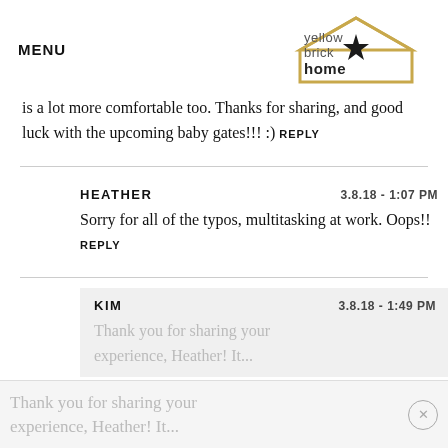MENU | yellow brick home (logo)
is a lot more comfortable too. Thanks for sharing, and good luck with the upcoming baby gates!!! :)  REPLY
HEATHER  3.8.18 - 1:07 PM
Sorry for all of the typos, multitasking at work. Oops!!  REPLY
KIM  3.8.18 - 1:49 PM
Thank you for sharing your experience, Heather! It...